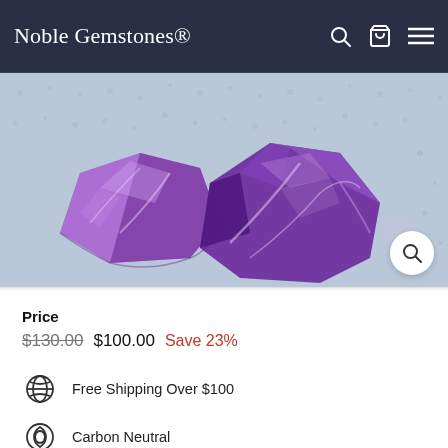Noble Gemstones®
[Figure (photo): Two purple/violet rough gemstones (amethyst) on a light blue textured background, photographed from above. A circular zoom button with a magnifying glass icon is in the bottom right corner.]
Price
$130.00  $100.00  Save 23%
Free Shipping Over $100
Carbon Neutral
Secure Payments